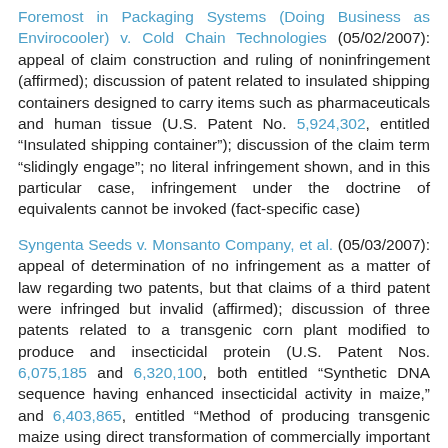Foremost in Packaging Systems (Doing Business as Envirocooler) v. Cold Chain Technologies (05/02/2007): appeal of claim construction and ruling of noninfringement (affirmed); discussion of patent related to insulated shipping containers designed to carry items such as pharmaceuticals and human tissue (U.S. Patent No. 5,924,302, entitled “Insulated shipping container”); discussion of the claim term “slidingly engage”; no literal infringement shown, and in this particular case, infringement under the doctrine of equivalents cannot be invoked (fact-specific case)
Syngenta Seeds v. Monsanto Company, et al. (05/03/2007): appeal of determination of no infringement as a matter of law regarding two patents, but that claims of a third patent were infringed but invalid (affirmed); discussion of three patents related to a transgenic corn plant modified to produce and insecticidal protein (U.S. Patent Nos. 6,075,185 and 6,320,100, both entitled “Synthetic DNA sequence having enhanced insecticidal activity in maize,” and 6,403,865, entitled “Method of producing transgenic maize using direct transformation of commercially important genotypes”); discussion of invalidity of patent for obviousness based on